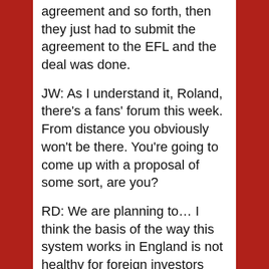agreement and so forth, then they just had to submit the agreement to the EFL and the deal was done.
JW: As I understand it, Roland, there’s a fans’ forum this week. From distance you obviously won’t be there. You’re going to come up with a proposal of some sort, are you?
RD: We are planning to… I think the basis of the way this system works in England is not healthy for foreign investors and that’s my main concern. Whether I am the foreign investor, why should I now try to bring another foreign investor into the business? That’s not my mentality, I am against that…
SJ: Roland, I don’t want to beat you up, but I’ve got to say it, mate, that’s utter rubbish. You’ve got many,